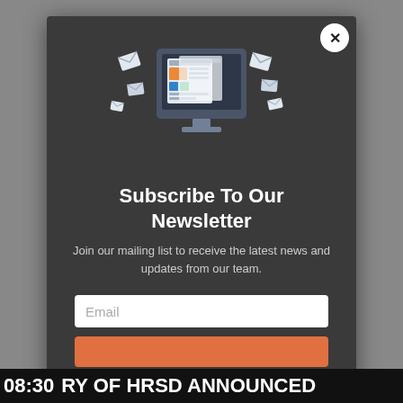[Figure (illustration): Newsletter subscription modal popup with an illustration of a computer monitor displaying a newspaper, surrounded by flying envelope icons. The modal has a dark background with a white close (X) button in the top right corner.]
Subscribe To Our Newsletter
Join our mailing list to receive the latest news and updates from our team.
08:30 RY OF HRSD ANNOUNCED